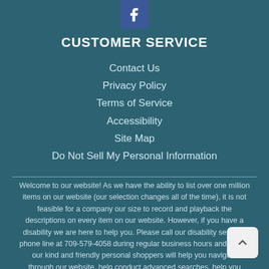[Figure (logo): Facebook icon button with white 'f' on blue background]
CUSTOMER SERVICE
Contact Us
Privacy Policy
Terms of Service
Accessibility
Site Map
Do Not Sell My Personal Information
Welcome to our website! As we have the ability to list over one million items on our website (our selection changes all of the time), it is not feasible for a company our size to record and playback the descriptions on every item on our website. However, if you have a disability we are here to help you. Please call our disability services phone line at 709-579-4058 during regular business hours and one of our kind and friendly personal shoppers will help you navigate through our website, help conduct advanced searches, help you choose the item you are looking for with the specifications you are seeking, read you the specifications of any item and consult with you about the products themselves. There is no charge for the help of this personal shopper for anyone with a disability. Finally, your personal shopper will explain our Privacy Policy and Terms of Service, and help you place an order